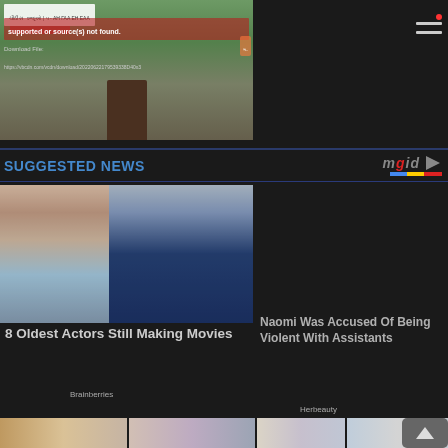[Figure (screenshot): Video player with error - image not supported or source not found, showing a building exterior. Text overlay in Gujarati script and error message in English.]
Image not supported or source(s) not found.
Download File:
https://vbcdn.com/vcdn/download/20220622179539338D40x3
SUGGESTED NEWS
[Figure (logo): mgid logo with colored underbar]
[Figure (photo): Photo of two people, a woman and an older man, standing together outdoors.]
8 Oldest Actors Still Making Movies
Brainberries
Naomi Was Accused Of Being Violent With Assistants
Herbeauty
[Figure (photo): Bottom row thumbnails: celebrity photos]
[Figure (photo): Bottom row photo 2]
[Figure (photo): Bottom row photo 3]
[Figure (photo): Bottom row photo 4 with scroll-up button overlay]